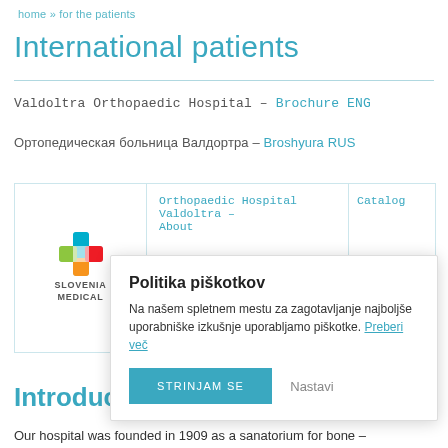home » for the patients
International patients
Valdoltra Orthopaedic Hospital – Brochure ENG
Ортопедическая больница Валдортра – Broshyura RUS
| Logo | Links | Catalog |
| --- | --- | --- |
| SLOVENIA MEDICAL (logo) | Orthopaedic Hospital Valdoltra – About | Catalog |
|  | Ортопедическая больница Валдортра – |  |
[Figure (other): Cookie consent popup overlay with title 'Politika piškotkov', body text about cookies, 'Preberi več' link, 'STRINJAM SE' button and 'Nastavi' text button]
Introduction
Our hospital was founded in 1909 as a sanatorium for bone –